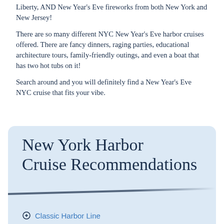Liberty, AND New Year’s Eve fireworks from both New York and New Jersey!
There are so many different NYC New Year’s Eve harbor cruises offered. There are fancy dinners, raging parties, educational architecture tours, family-friendly outings, and even a boat that has two hot tubs on it!
Search around and you will definitely find a New Year’s Eve NYC cruise that fits your vibe.
[Figure (illustration): Light blue rounded box containing script-style title text 'New York Harbor Cruise Recommendations' with a hand-drawn underline stroke and a list item 'Classic Harbor Line' below]
Classic Harbor Line